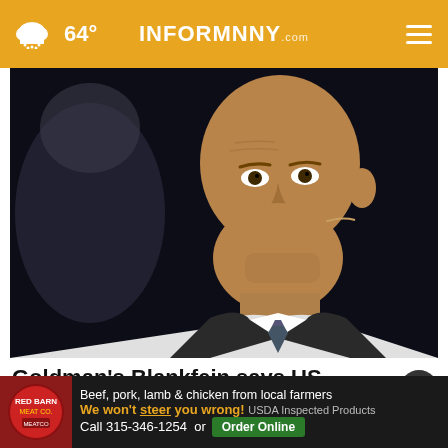64° INFORMNNY.com
[Figure (photo): Headshot photo of Goldman Sachs CEO Lloyd Blankfein speaking with a lavalier microphone, dark background, wearing suit and tie, slight smile]
Goldman's Blankfein says US facing 'very, very high risk' of recession
Beef, pork, lamb & chicken from local farmers We won't steer you wrong! USDA Inspected Products Call 315-346-1254 or Order Online